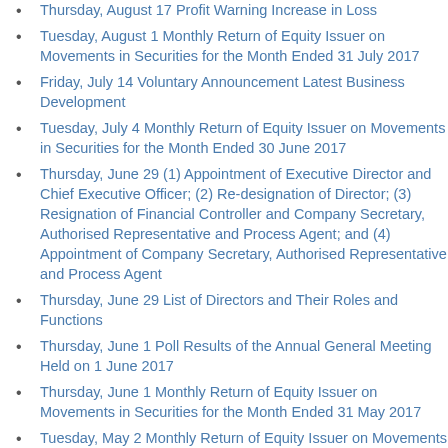Thursday, August 17 Profit Warning Increase in Loss
Tuesday, August 1 Monthly Return of Equity Issuer on Movements in Securities for the Month Ended 31 July 2017
Friday, July 14 Voluntary Announcement Latest Business Development
Tuesday, July 4 Monthly Return of Equity Issuer on Movements in Securities for the Month Ended 30 June 2017
Thursday, June 29 (1) Appointment of Executive Director and Chief Executive Officer; (2) Re-designation of Director; (3) Resignation of Financial Controller and Company Secretary, Authorised Representative and Process Agent; and (4) Appointment of Company Secretary, Authorised Representative and Process Agent
Thursday, June 29 List of Directors and Their Roles and Functions
Thursday, June 1 Poll Results of the Annual General Meeting Held on 1 June 2017
Thursday, June 1 Monthly Return of Equity Issuer on Movements in Securities for the Month Ended 31 May 2017
Tuesday, May 2 Monthly Return of Equity Issuer on Movements in Securities for the Month Ended 30 April 2017